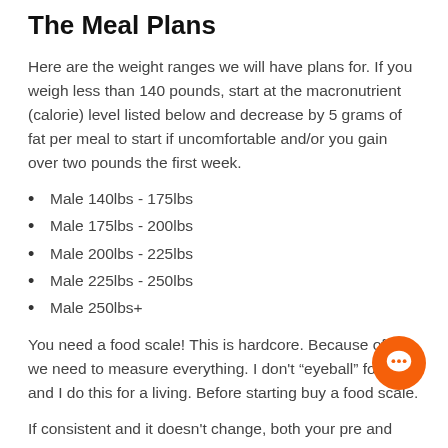The Meal Plans
Here are the weight ranges we will have plans for. If you weigh less than 140 pounds, start at the macronutrient (calorie) level listed below and decrease by 5 grams of fat per meal to start if uncomfortable and/or you gain over two pounds the first week.
Male 140lbs - 175lbs
Male 175lbs - 200lbs
Male 200lbs - 225lbs
Male 225lbs - 250lbs
Male 250lbs+
You need a food scale! This is hardcore. Because of this we need to measure everything. I don’t “eyeball” food and I do this for a living. Before starting buy a food scale.
If consistent and it doesn’t change, both your pre and